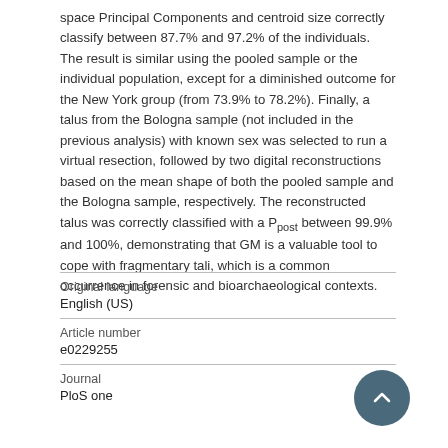space Principal Components and centroid size correctly classify between 87.7% and 97.2% of the individuals. The result is similar using the pooled sample or the individual population, except for a diminished outcome for the New York group (from 73.9% to 78.2%). Finally, a talus from the Bologna sample (not included in the previous analysis) with known sex was selected to run a virtual resection, followed by two digital reconstructions based on the mean shape of both the pooled sample and the Bologna sample, respectively. The reconstructed talus was correctly classified with a P_post between 99.9% and 100%, demonstrating that GM is a valuable tool to cope with fragmentary tali, which is a common occurrence in forensic and bioarchaeological contexts.
| Field | Value |
| --- | --- |
| Original language | English (US) |
| Article number | e0229255 |
| Journal | PloS one |